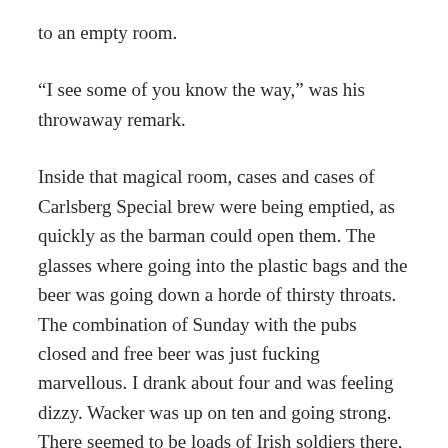to an empty room.
“I see some of you know the way,” was his throwaway remark.
Inside that magical room, cases and cases of Carlsberg Special brew were being emptied, as quickly as the barman could open them. The glasses where going into the plastic bags and the beer was going down a horde of thirsty throats. The combination of Sunday with the pubs closed and free beer was just fucking marvellous. I drank about four and was feeling dizzy. Wacker was up on ten and going strong. There seemed to be loads of Irish soldiers there, milling around heads back guzzling.